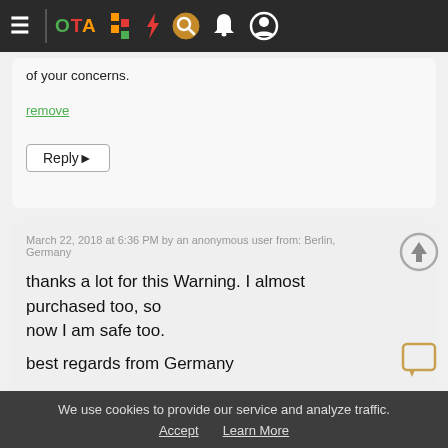≡ OTA [icons] navigation bar
of your concerns.
remove
Reply▶
March 22, 2018 at 6:36 PM by an anonymous user from: Berlin, Germany
thanks a lot for this Warning. I almost purchased too, so now I am safe too.

best regards from Germany
remove
Reply
We use cookies to provide our service and analyze traffic. Accept  Learn More